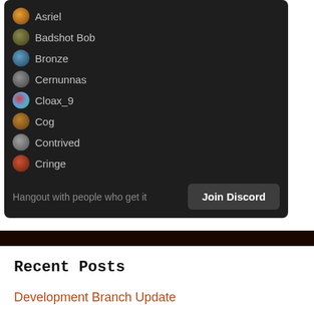[Figure (screenshot): Discord widget panel showing online members list: Asriel, Badshot Bob, Bronze, Cernunnas, Cloax_9, Cog, Contrived, Cringe. Footer says 'Hangout with people who get it' with a 'Join Discord' button.]
Recent Posts
Development Branch Update
Wayward Newsletter #11
Beta 2.11.6 Released